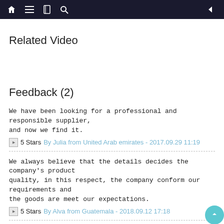Navigation bar with home, menu, book, search, and back icons
Related Video
Feedback (2)
We have been looking for a professional and responsible supplier, and now we find it.
5 Stars  By Julia from United Arab emirates - 2017.09.29 11:19
We always believe that the details decides the company's product quality, in this respect, the company conform our requirements and the goods are meet our expectations.
5 Stars  By Alva from Guatemala - 2018.09.12 17:18